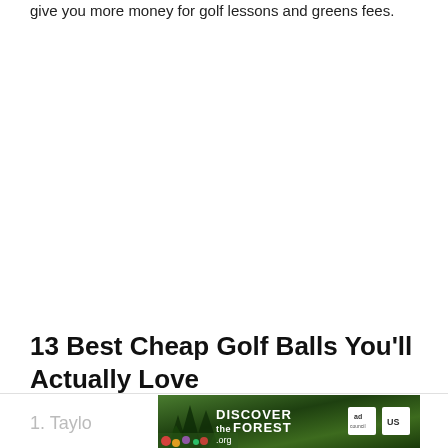give you more money for golf lessons and greens fees.
13 Best Cheap Golf Balls You'll Actually Love
1. Taylo...
[Figure (other): DISCOVERtheFOREST.org advertisement banner with forest background, ad council and US Forest Service logos]